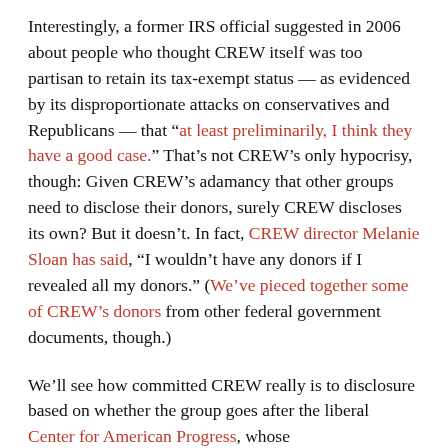Interestingly, a former IRS official suggested in 2006 about people who thought CREW itself was too partisan to retain its tax-exempt status — as evidenced by its disproportionate attacks on conservatives and Republicans — that “at least preliminarily, I think they have a good case.” That’s not CREW’s only hypocrisy, though: Given CREW’s adamancy that other groups need to disclose their donors, surely CREW discloses its own? But it doesn’t. In fact, CREW director Melanie Sloan has said, “I wouldn’t have any donors if I revealed all my donors.” (We’ve pieced together some of CREW’s donors from other federal government documents, though.)
We’ll see how committed CREW really is to disclosure based on whether the group goes after the liberal Center for American Progress, whose